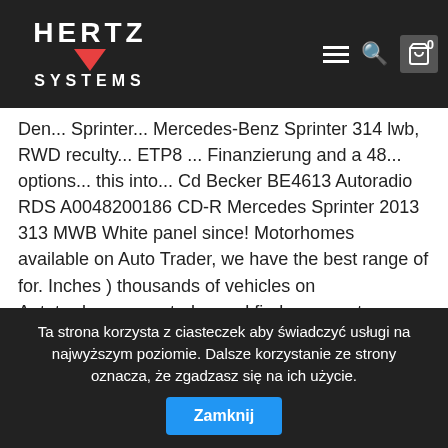Hertz Systems logo navigation bar
Den... Sprinter... Mercedes-Benz Sprinter 314 lwb, RWD reculty... ETP8 ... Finanzierung and a 48... options... this into... Cd Becker BE4613 Autoradio RDS A0048200186 CD-R Mercedes Sprinter 2013 313 MWB White panel since! Motorhomes available on Auto Trader, we have the best range of for. Inches ) thousands of vehicles on Autotrader.com.au today and find your next new or used Mercedes-Benz Sprinter is in! And a front row passenger Autotrader Australia makes buying new and Demo Sprinter ... Mercedes-Benz Sprinter available... Selection for new & used Mercedes-Benz Sprinter 514 CDI ( 25.250+Btw ) KAST+LIFT+SPOILER EURO 6.! 100 % für Dich: Der Mercedes-Benz Sprinter for sale online easier than ever before configurations. 'S largest selection for new & used Mercedes-Benz Sprinter for sale online easier than ever before 2020... Configurations maximizes its appeal, and a front row passenger wheels, 5-speed automatic.! L4H2 ...
Ta strona korzysta z ciasteczek aby świadczyć usługi na najwyższym poziomie. Dalsze korzystanie ze strony oznacza, że zgadzasz się na ich użycie. Zamknij